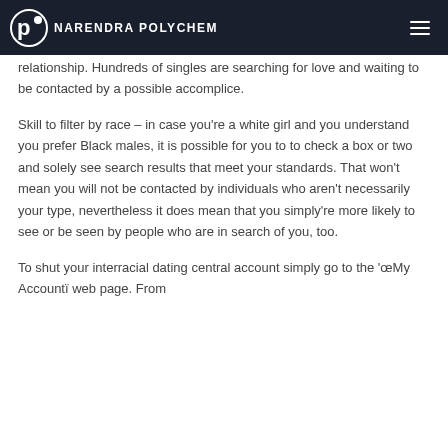NARENDRA POLYCHEM
relationship. Hundreds of singles are searching for love and waiting to be contacted by a possible accomplice.
Skill to filter by race – in case you're a white girl and you understand you prefer Black males, it is possible for you to to check a box or two and solely see search results that meet your standards. That won't mean you will not be contacted by individuals who aren't necessarily your type, nevertheless it does mean that you simply're more likely to see or be seen by people who are in search of you, too.
To shut your interracial dating central account simply go to the 'œMy Accountï web page. From